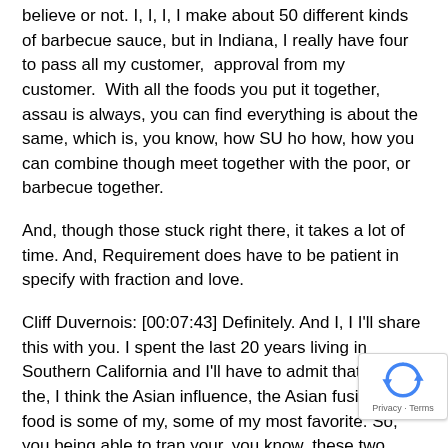believe or not. I, I, I, I make about 50 different kinds of barbecue sauce, but in Indiana, I really have four to pass all my customer,  approval from my customer.  With all the foods you put it together, assau is always, you can find everything is about the same, which is, you know, how SU ho how, how you can combine though meet together with the poor, or barbecue together.
And, though those stuck right there, it takes a lot of time. And, Requirement does have to be patient in specify with fraction and love.
Cliff Duvernois: [00:07:43] Definitely. And I, I I'll share this with you. I spent the last 20 years living in Southern California and I'll have to admit that I think the, I think the Asian influence, the Asian fusion. into food is some of my, some of my most favorite. So, you being able to tran your, you know, these two different styles of cooking has obviously been a big, big success for you.